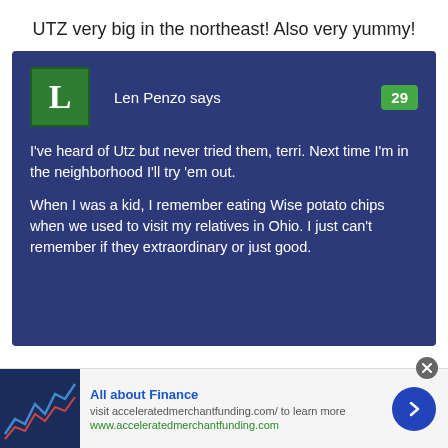UTZ very big in the northeast! Also very yummy!
Len Penzo says
29
I've heard of Utz but never tried them, terri. Next time I'm in the neighborhood I'll try 'em out.
When I was a kid, I remember eating Wise potato chips when we used to visit my relatives in Ohio. I just can't remember if they extraordinary or just good.
All about Finance
visit acceleratedmerchantfunding.com/ to learn more
www.acceleratedmerchantfunding.com